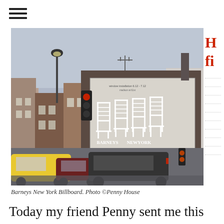[Figure (photo): Street-level photo of a Barneys New York billboard on the side of a building in New York City. The billboard shows four white chairs in black and white. Traffic and cars are visible in the foreground. A traffic light and street lamp are visible on the left. The sky is overcast.]
Barneys New York Billboard. Photo ©Penny House
Today my friend Penny sent me this picture of the finished billboard. It's